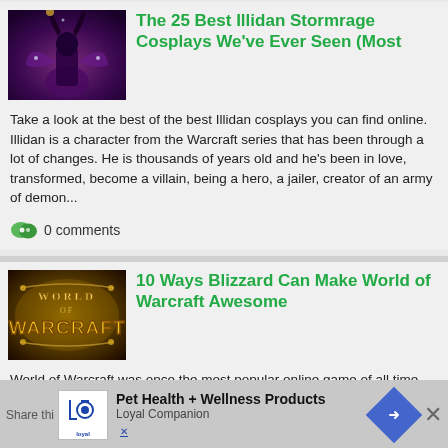[Figure (photo): Illidan Stormrage cosplay with purple outfit and horns]
The 25 Best Illidan Stormrage Cosplays We've Ever Seen (Most
Take a look at the best of the best Illidan cosplays you can find online. Illidan is a character from the Warcraft series that has been through a lot of changes. He is thousands of years old and he's been in love, transformed, become a villain, being a hero, a jailer, creator of an army of demon...
0 comments
[Figure (photo): World of Warcraft logo on golden stone background]
10 Ways Blizzard Can Make World of Warcraft Awesome
World of Warcraft was once the most popular online game of all time. However, with the more recent expansions it's really begun to fall off. It no longer holds that title of success. Every expansion comes with a small glimmer of hope. Hope that Wow can return to it's former glory. However, if they...
Pet Health + Wellness Products
Loyal Companion